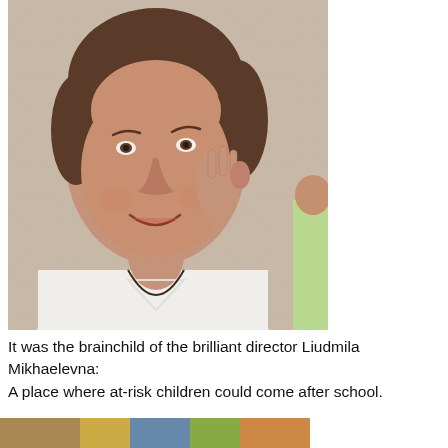[Figure (photo): Close-up photo of an older woman with brown hair partially tied back, smiling, resting her right hand near her ear/face, wearing a white V-neck top with a dark string necklace. Another person in a light green top is partially visible on the right side. Background is a warm beige/tan patterned wall.]
It was the brainchild of the brilliant director Liudmila Mikhaelevna:
A place where at-risk children could come after school.
[Figure (photo): Partial view of a second photo at the bottom of the page, showing colorful content — appears to show children or a scene with yellow and green tones.]